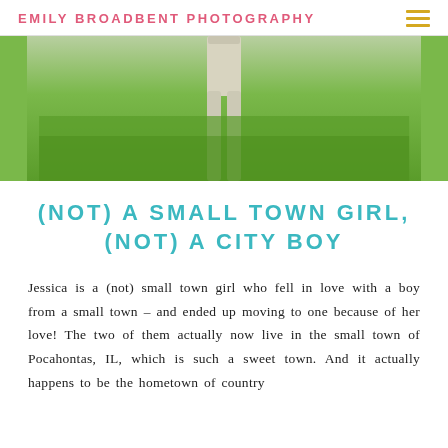EMILY BROADBENT PHOTOGRAPHY
[Figure (photo): Cropped photo showing the lower half of a person wearing light khaki/beige pants, standing on green grass. Only the legs and midsection are visible.]
(NOT) A SMALL TOWN GIRL, (NOT) A CITY BOY
Jessica is a (not) small town girl who fell in love with a boy from a small town – and ended up moving to one because of her love! The two of them actually now live in the small town of Pocahontas, IL, which is such a sweet town. And it actually happens to be the hometown of country